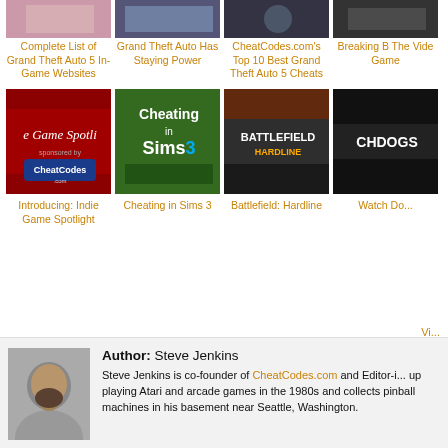[Figure (photo): Thumbnail image for Complete List of Grand Theft Auto 5 In-Game Websites]
Complete List of Grand Theft Auto 5 In-Game Websites
[Figure (photo): Thumbnail image for Grand Theft Auto Has Staying Power]
Grand Theft Auto Has Staying Power
[Figure (photo): Thumbnail image for CheatCodes.com's Top 10 Best Grand Theft Auto 5 Cheats]
CheatCodes.com's Top 10 Best Grand Theft Auto 5 Cheats
[Figure (photo): Thumbnail image for Breaking B... The Vide... Game...]
Breaking B... The Video Game
[Figure (photo): Indie Game Spotlight thumbnail with CheatCodes.com logo on red curtain background]
Introducing: Indie Game Spotlight
[Figure (photo): Cheating in Sims 3 thumbnail]
Cheating in Sims 3
[Figure (photo): Battlefield: Hardline thumbnail]
Battlefield: Hardline
[Figure (photo): Watch Dogs thumbnail partially visible]
Watch Do...
[Figure (photo): Author photo of Steve Jenkins, bearded man]
Author: Steve Jenkins
Steve Jenkins is co-founder of CheatCodes.com and Editor-i... up playing Atari and arcade games in the 1980s and collects pinball machines in his basement near Seattle, Washington.